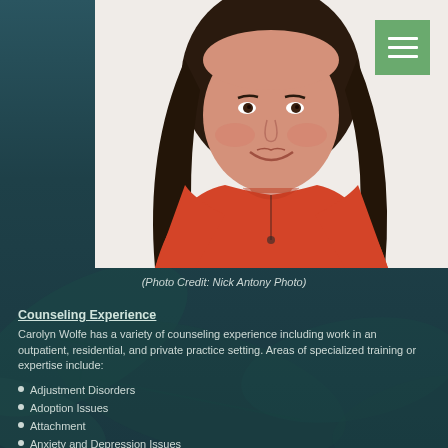[Figure (photo): Professional headshot of a woman with long dark hair, wearing a red/orange top, smiling against a white background]
(Photo Credit: Nick Antony Photo)
Counseling Experience
Carolyn Wolfe has a variety of counseling experience including work in an outpatient, residential, and private practice setting. Areas of specialized training or expertise include:
Adjustment Disorders
Adoption Issues
Attachment
Anxiety and Depression Issues